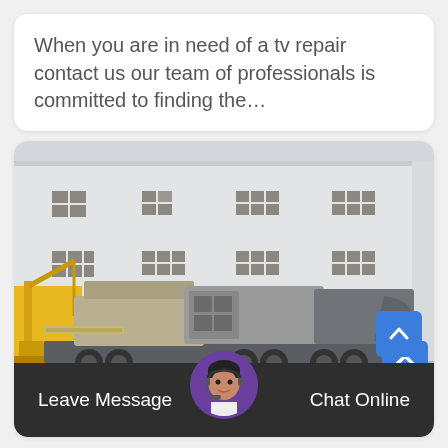When you are in need of a tv repair contact us our team of professionals is committed to finding the…
[Figure (photo): A large mobile crushing/mining machine (beige and gray) on a trailer parked in front of a large white industrial building with grid windows. A yellow crane or construction equipment is visible on the left.]
Leave Message
Chat Online